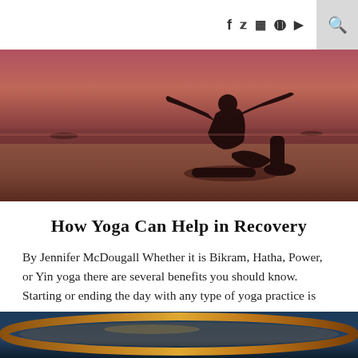social icons: f, twitter, instagram, pinterest, youtube | search
[Figure (photo): Silhouette of a person doing a yoga pose on a beach at sunset with a pink-purple sky and water in the background]
How Yoga Can Help in Recovery
By Jennifer McDougall Whether it is Bikram, Hatha, Power, or Yin yoga there are several benefits you should know. Starting or ending the day with any type of yoga practice is one…
by Passages Malibu
[Figure (photo): Partial view of a decorative bowl or dish with warm orange-gold tones and a blue background at the bottom of the page]